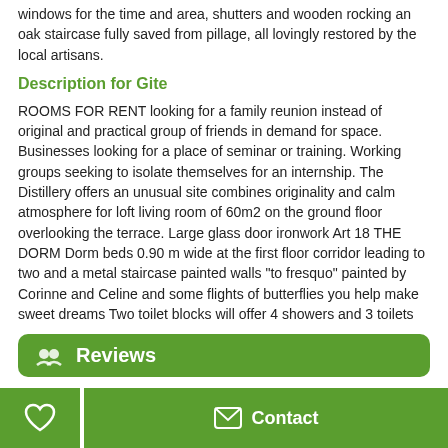windows for the time and area, shutters and wooden rocking an oak staircase fully saved from pillage, all lovingly restored by the local artisans.
Description for Gite
ROOMS FOR RENT looking for a family reunion instead of original and practical group of friends in demand for space. Businesses looking for a place of seminar or training. Working groups seeking to isolate themselves for an internship. The Distillery offers an unusual site combines originality and calm atmosphere for loft living room of 60m2 on the ground floor overlooking the terrace. Large glass door ironwork Art 18 THE DORM Dorm beds 0.90 m wide at the first floor corridor leading to two and a metal staircase painted walls "to fresquo" painted by Corinne and Celine and some flights of butterflies you help make sweet dreams Two toilet blocks will offer 4 showers and 3 toilets
Reviews
Appréciations pour La Distillerie, St Pierre De Maille:
[Figure (other): Five yellow star rating icons inside a rounded box]